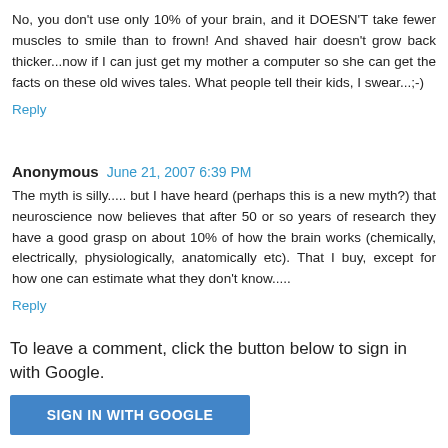No, you don't use only 10% of your brain, and it DOESN'T take fewer muscles to smile than to frown! And shaved hair doesn't grow back thicker...now if I can just get my mother a computer so she can get the facts on these old wives tales. What people tell their kids, I swear...;-)
Reply
Anonymous  June 21, 2007 6:39 PM
The myth is silly..... but I have heard (perhaps this is a new myth?) that neuroscience now believes that after 50 or so years of research they have a good grasp on about 10% of how the brain works (chemically, electrically, physiologically, anatomically etc). That I buy, except for how one can estimate what they don't know.....
Reply
To leave a comment, click the button below to sign in with Google.
SIGN IN WITH GOOGLE